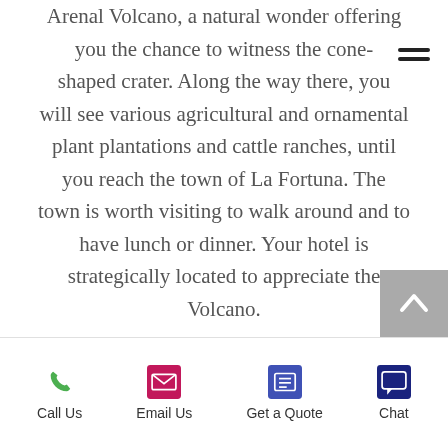Arenal Volcano, a natural wonder offering you the chance to witness the cone-shaped crater. Along the way there, you will see various agricultural and ornamental plant plantations and cattle ranches, until you reach the town of La Fortuna. The town is worth visiting to walk around and to have lunch or dinner. Your hotel is strategically located to appreciate the Volcano.
Day 9. Arenal Volcano (B/-/-)
Breakfast at the hotel. The resorts with hot springs and spas represent one of the biggest attractions to enjoy in this region. Another prime feature is...